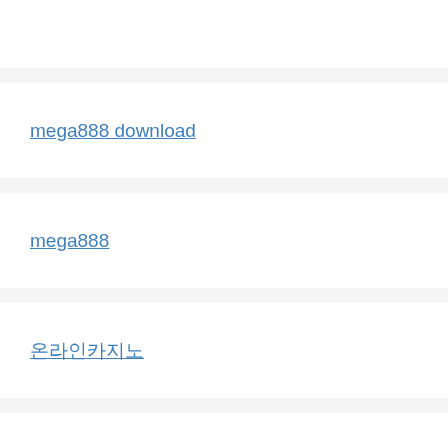mega888 download
mega888
온라인카지노
make passport photos online